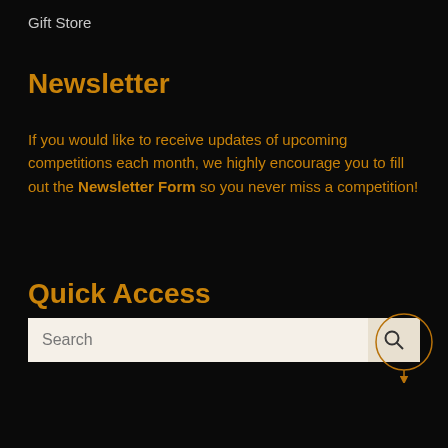Gift Store
Newsletter
If you would like to receive updates of upcoming competitions each month, we highly encourage you to fill out the Newsletter Form so you never miss a competition!
Quick Access
[Figure (screenshot): A search bar with a white/beige input field labeled 'Search' and a search button icon on the right, with a circular annotation arrow pointing to the search icon button.]